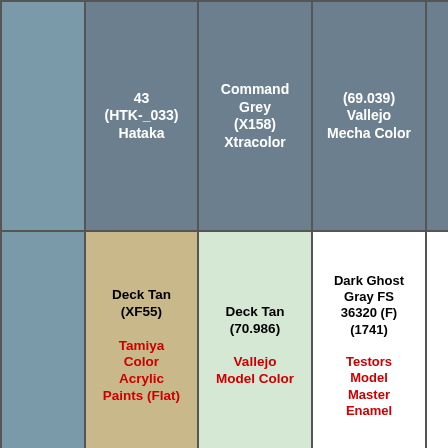| Color swatch | Paint name/code | Paint name/code | Paint name/code | Partial |
| --- | --- | --- | --- | --- |
| (color swatch) | 43 (HTK-_033) Hataka | Command Grey (X158) Xtracolor | (69.039) Vallejo Mecha Color |  |
| (color swatch) | Deck Tan (XF55) Tamiya Color Acrylic Paints (Flat) | Deck Tan (70.986) Vallejo Model Color | Dark Ghost Gray FS 36320 (F) (1741) Testors Model Master Enamel |  |
| (color swatch) | Steel (H18) Aqueous Hobby Color | Steel (S28) Mr. Color Spray | Oily Steel (Metallic) (70.865) Vallejo Model Color |  |
| (color swatch) |  |  |  |  |